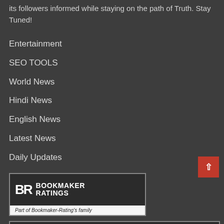its followers informed while staying on the path of Truth. Stay Tuned!
Entertainment
SEO TOOLS
World News
Hindi News
English News
Latest News
Daily Updates
[Figure (logo): Bookmaker Ratings logo with text 'Part of Bookmaker-Rating's family']
[Figure (logo): Bookmaker Ratings large logo, partially visible]